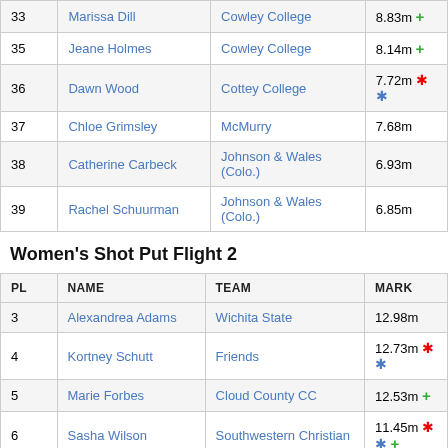| PL | NAME | TEAM | MARK |
| --- | --- | --- | --- |
| 33 | Marissa Dill | Cowley College | 8.83m + |
| 35 | Jeane Holmes | Cowley College | 8.14m + |
| 36 | Dawn Wood | Cottey College | 7.72m * * |
| 37 | Chloe Grimsley | McMurry | 7.68m |
| 38 | Catherine Carbeck | Johnson & Wales (Colo.) | 6.93m |
| 39 | Rachel Schuurman | Johnson & Wales (Colo.) | 6.85m |
Women's Shot Put Flight 2
| PL | NAME | TEAM | MARK |
| --- | --- | --- | --- |
| 3 | Alexandrea Adams | Wichita State | 12.98m |
| 4 | Kortney Schutt | Friends | 12.73m * * |
| 5 | Marie Forbes | Cloud County CC | 12.53m + |
| 6 | Sasha Wilson | Southwestern Christian | 11.45m * * + |
| 7 | Kayla Noear | Cowley College | 11.34m + |